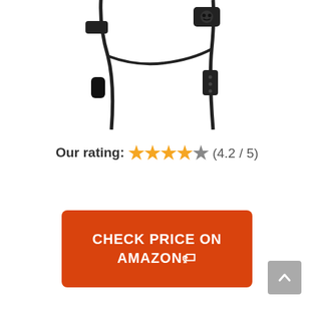[Figure (photo): Product photo of Skullcandy wireless in-ear headphones/earbuds with cable, shown in black against white background. Two views of the earbuds and cable are visible, including the earpiece with Skullcandy skull logo.]
Our rating: ★★★★☆ (4.2 / 5)
CHECK PRICE ON AMAZON 🏷